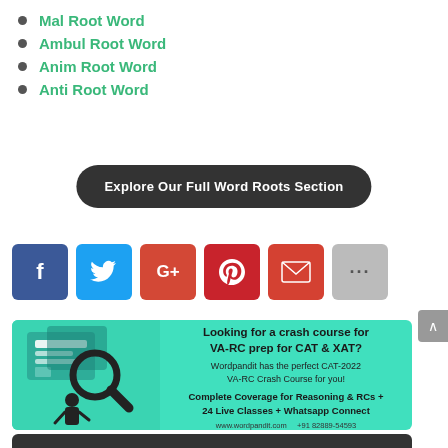Mal Root Word
Ambul Root Word
Anim Root Word
Anti Root Word
Explore Our Full Word Roots Section
[Figure (infographic): Row of social sharing icons: Facebook (blue), Twitter (light blue), Google+ (orange-red), Pinterest (red), Email (dark red-orange), More/ellipsis (grey)]
[Figure (infographic): Advertisement banner for Wordpandit CAT-2022 VA-RC Crash Course. Teal background with illustration of person using magnifying glass on digital screens. Text: Looking for a crash course for VA-RC prep for CAT & XAT? Wordpandit has the perfect CAT-2022 VA-RC Crash Course for you! Complete Coverage for Reasoning & RCs + 24 Live Classes + Whatsapp Connect. www.wordpandit.com +91 82889-54593]